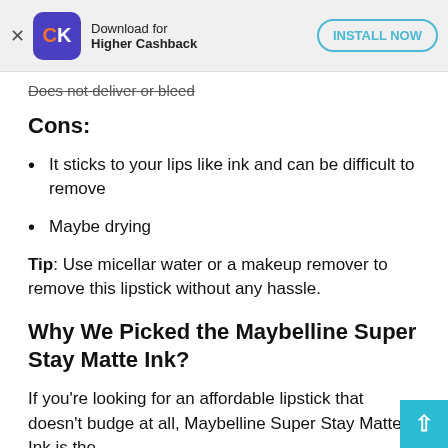[Figure (other): App advertisement banner for CK (CashKaro) app with close button, app icon, text 'Download for Higher Cashback', and 'INSTALL NOW' button]
Does not deliver or bleed
Cons:
It sticks to your lips like ink and can be difficult to remove
Maybe drying
Tip: Use micellar water or a makeup remover to remove this lipstick without any hassle.
Why We Picked the Maybelline Super Stay Matte Ink?
If you're looking for an affordable lipstick that doesn't budge at all, Maybelline Super Stay Matte Ink is the